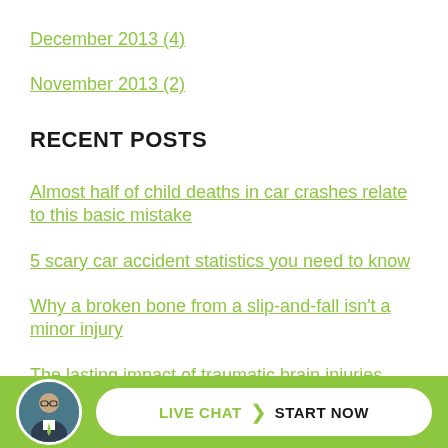December 2013 (4)
November 2013 (2)
RECENT POSTS
Almost half of child deaths in car crashes relate to this basic mistake
5 scary car accident statistics you need to know
Why a broken bone from a slip-and-fall isn't a minor injury
The lasting impact of traumatic brain injuries